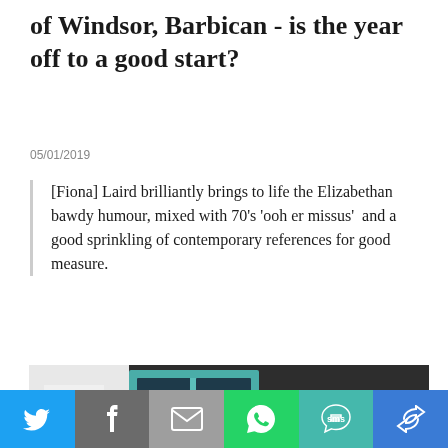of Windsor, Barbican - is the year off to a good start?
05/01/2019
[Fiona] Laird brilliantly brings to life the Elizabethan bawdy humour, mixed with 70's 'ooh er missus'  and a good sprinkling of contemporary references for good measure.
[Figure (photo): Theatre production photo showing two actors on stage — a bearded man with reddish hair and a blonde woman wearing sunglasses, in front of a set with teal-framed windows and white decorative elements]